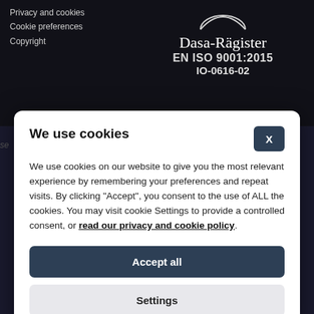Privacy and cookies
Cookie preferences
Copyright
[Figure (logo): Dasa-Rägister logo with circular emblem, EN ISO 9001:2015 IO-0616-02]
We use cookies
We use cookies on our website to give you the most relevant experience by remembering your preferences and repeat visits. By clicking "Accept", you consent to the use of ALL the cookies. You may visit cookie Settings to provide a controlled consent, or read our privacy and cookie policy.
Accept all
Settings